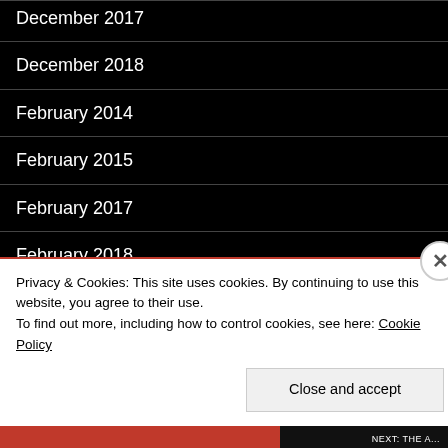December 2017
December 2018
February 2014
February 2015
February 2017
February 2018
February 2019
February 2020
Irish Times Pub
Privacy & Cookies: This site uses cookies. By continuing to use this website, you agree to their use.
To find out more, including how to control cookies, see here: Cookie Policy
Close and accept